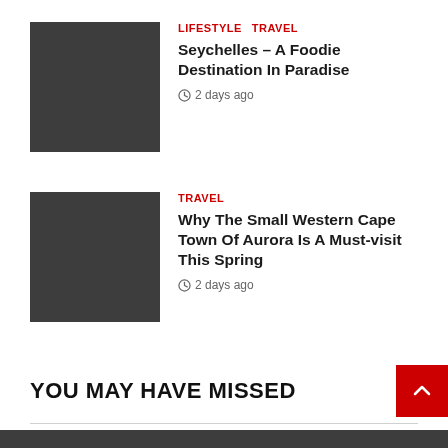[Figure (photo): Dark grey placeholder thumbnail image for first article]
LIFESTYLE  TRAVEL
Seychelles – A Foodie Destination In Paradise
2 days ago
[Figure (photo): Dark grey placeholder thumbnail image for second article]
TRAVEL
Why The Small Western Cape Town Of Aurora Is A Must-visit This Spring
2 days ago
YOU MAY HAVE MISSED